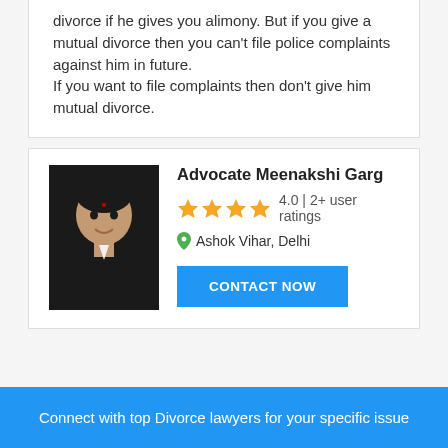divorce if he gives you alimony. But if you give a mutual divorce then you can't file police complaints against him in future. If you want to file complaints then don't give him mutual divorce.
Advocate Meenakshi Garg
4.0 | 2+ user ratings
Ashok Vihar, Delhi
CONTACT NOW
Connect with top Divorce lawyers for your specific issue